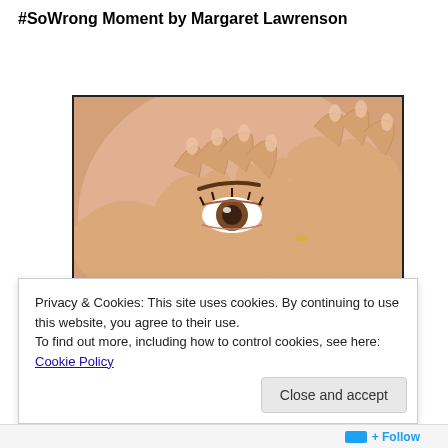#SoWrong Moment by Margaret Lawrenson
[Figure (photo): Close-up photo of a woman covering her face with both hands, peering through her fingers with one eye visible, expression suggesting embarrassment or shock.]
Privacy & Cookies: This site uses cookies. By continuing to use this website, you agree to their use.
To find out more, including how to control cookies, see here: Cookie Policy
Close and accept